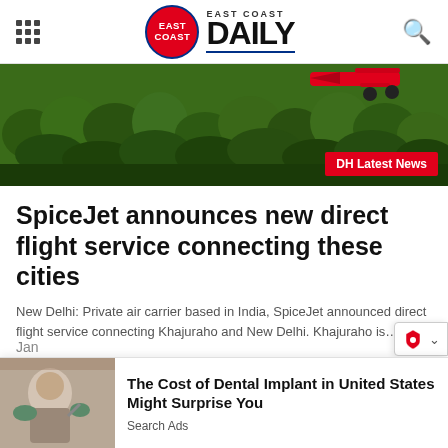East Coast Daily
[Figure (photo): Aerial view of dense green forest with a red aircraft visible at the top right corner. A red badge reading 'DH Latest News' is overlaid at the bottom right.]
SpiceJet announces new direct flight service connecting these cities
New Delhi: Private air carrier based in India, SpiceJet announced direct flight service connecting Khajuraho and New Delhi. Khajuraho is…
[Figure (photo): Advertisement showing a dental implant procedure photo on the left and text 'The Cost of Dental Implant in United States Might Surprise You' with 'Search Ads' below.]